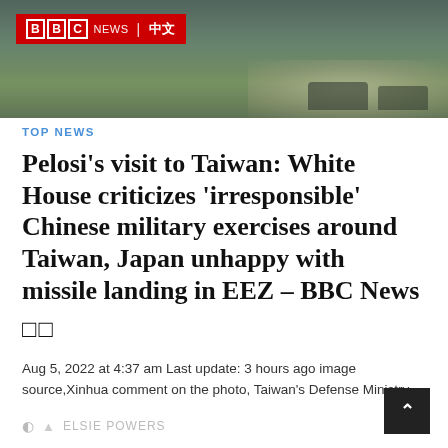[Figure (photo): Military vehicles/missile launchers on a field with smoke, BBC News Chinese logo overlay in top-left]
TOP NEWS
Pelosi’s visit to Taiwan: White House criticizes ‘irresponsible’ Chinese military exercises around Taiwan, Japan unhappy with missile landing in EEZ – BBC News □□
Aug 5, 2022 at 4:37 am Last update: 3 hours ago image source,Xinhua comment on the photo, Taiwan's Defense Ministry...
ELSIE POWERS